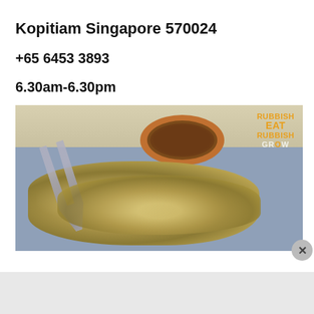Kopitiam Singapore 570024
+65 6453 3893
6.30am-6.30pm
[Figure (photo): Photo of roti prata (flatbread) on a blue plate with a bowl of curry sauce, fork visible on left, watermark 'RUBBISH EAT RUBBISH GROW' in top right corner]
Advertisements